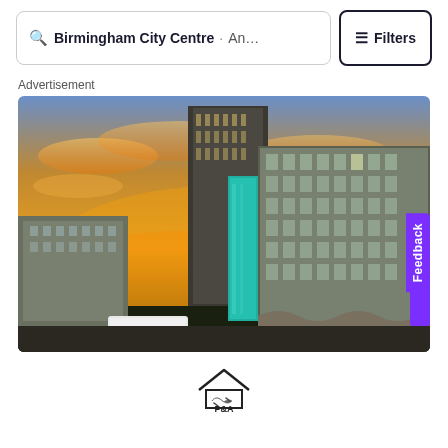Birmingham City Centre · An... Filters
Advertisement
[Figure (photo): HDR photograph of Birmingham City Centre showing tall modernist buildings, a teal glass tower, and a dramatic orange and yellow sunset sky with clouds. Street level shows green trees and a white van.]
[Figure (logo): P&A logo showing a house outline with a handshake inside, above the text P&A]